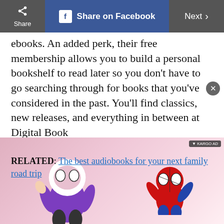Share | Share on Facebook | Next >
ebooks. An added perk, their free membership allows you to build a personal bookshelf to read later so you don't have to go searching through for books that you've considered in the past. You'll find classics, new releases, and everything in between at Digital Book
[Figure (illustration): Advertisement overlay with Spider-Gwen and Spider-Man cartoon characters on a pink/rose gradient background with KARGO AD label]
RELATED: The best audiobooks for your next family road trip
Explore Digital Book